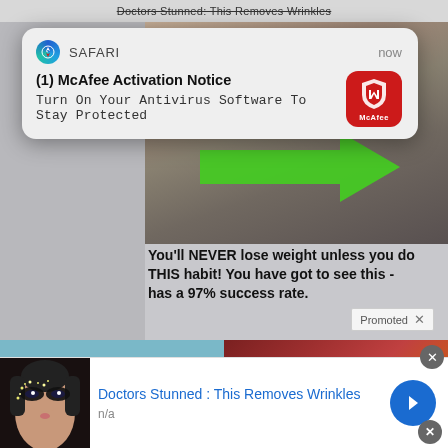[Figure (screenshot): Webpage background showing ads and video content. Top bar shows 'Doctors Stunned: This Removes Wrinkles' partially. Main area has video thumbnail with green arrow, text about weight loss with 97% success rate, promoted tag, and two thumbnail images in a row.]
[Figure (screenshot): Safari browser push notification popup overlay. Shows Safari icon, 'SAFARI' app name, 'now' timestamp, bold title '(1) McAfee Activation Notice', body text 'Turn On Your Antivirus Software To Stay Protected', and McAfee red icon on the right.]
(1) McAfee Activation Notice
Turn On Your Antivirus Software To Stay Protected
You’ll NEVER lose weight unless you do THIS habit! You have got to see this - has a 97% success rate.
Promoted
[Figure (screenshot): Bottom ad banner: thumbnail of woman's face with sparkly eye makeup, title 'Doctors Stunned : This Removes Wrinkles', subtitle 'n/a', blue arrow button.]